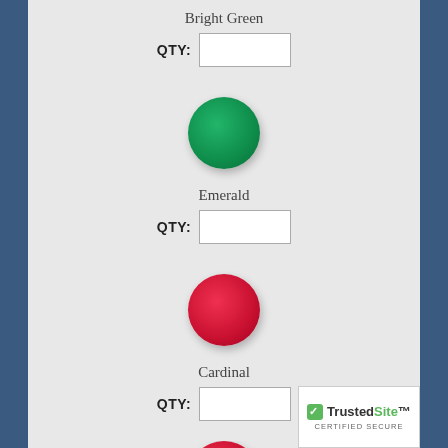Bright Green
QTY:
[Figure (illustration): Green circle representing Emerald color swatch]
Emerald
QTY:
[Figure (illustration): Red circle representing Cardinal color swatch]
Cardinal
QTY:
[Figure (illustration): Partial red circle at bottom, next color swatch]
[Figure (logo): TrustedSite Certified Secure badge]